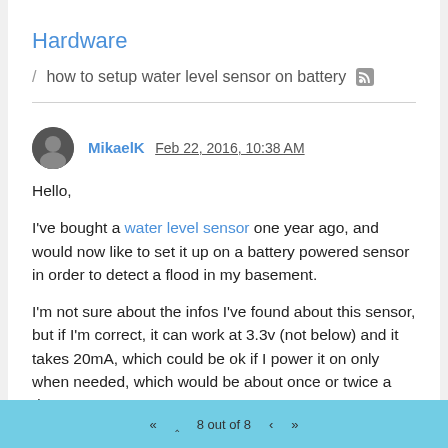Hardware
/ how to setup water level sensor on battery
MikaelK Feb 22, 2016, 10:38 AM
Hello,
I've bought a water level sensor one year ago, and would now like to set it up on a battery powered sensor in order to detect a flood in my basement.
I'm not sure about the infos I've found about this sensor, but if I'm correct, it can work at 3.3v (not below) and it takes 20mA, which could be ok if I power it on only when needed, which would be about once or twice a day.
8 out of 8